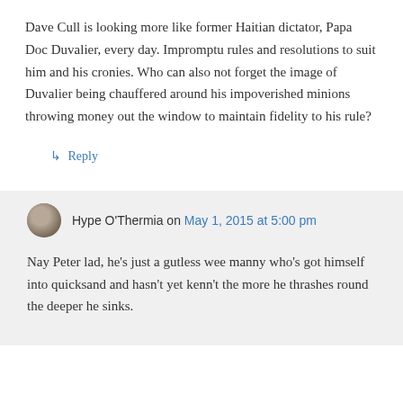Dave Cull is looking more like former Haitian dictator, Papa Doc Duvalier, every day. Impromptu rules and resolutions to suit him and his cronies. Who can also not forget the image of Duvalier being chauffered around his impoverished minions throwing money out the window to maintain fidelity to his rule?
↳ Reply
Hype O'Thermia on May 1, 2015 at 5:00 pm
Nay Peter lad, he's just a gutless wee manny who's got himself into quicksand and hasn't yet kenn't the more he thrashes round the deeper he sinks.